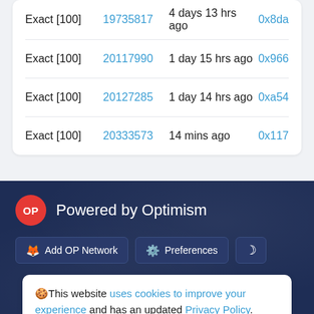| Type | Block | Age | Hash |
| --- | --- | --- | --- |
| Exact [100] | 19735817 | 4 days 13 hrs ago | 0x8da |
| Exact [100] | 20117990 | 1 day 15 hrs ago | 0x966 |
| Exact [100] | 20127285 | 1 day 14 hrs ago | 0xa54 |
| Exact [100] | 20333573 | 14 mins ago | 0x117 |
OP Powered by Optimism
Add OP Network  Preferences
This website uses cookies to improve your experience and has an updated Privacy Policy.
Got It